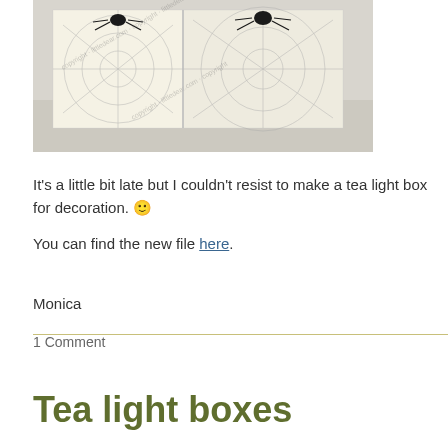[Figure (photo): A glowing white tea light box with spider and spiderweb cutout designs on its panels, photographed on a light surface. The box emits warm light through the decorative cutouts. Watermark text visible diagonally across the image.]
It's a little bit late but I couldn't resist to make a tea light box for decoration. 🙂
You can find the new file here.
Monica
1 Comment
Tea light boxes